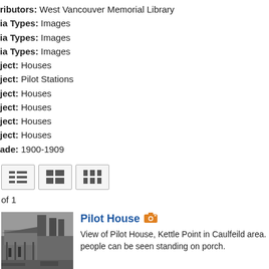Contributors: West Vancouver Memorial Library
Media Types: Images
Media Types: Images
Media Types: Images
Subject: Houses
Subject: Pilot Stations
Subject: Houses
Subject: Houses
Subject: Houses
Subject: Houses
Decade: 1900-1909
[Figure (other): View toggle buttons: list view, 2-column grid, 3-column grid]
of 1
[Figure (photo): Black and white photograph of the Pilot House at Kettle Point in Caulfeild area, with people standing on the porch.]
Pilot House
View of Pilot House, Kettle Point in Caulfeild area. people can be seen standing on porch.